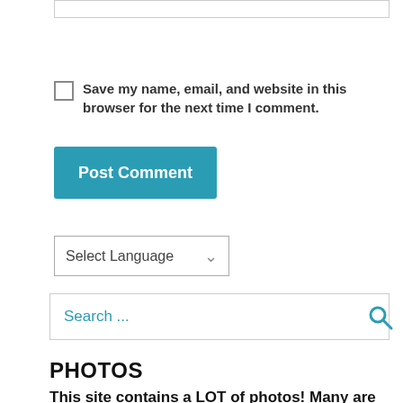Save my name, email, and website in this browser for the next time I comment.
[Figure (screenshot): Post Comment button — teal/blue rounded rectangle with white bold text]
[Figure (screenshot): Select Language dropdown widget with down-arrow chevron]
[Figure (screenshot): Search input field with teal placeholder text 'Search ...' and teal magnifying glass icon]
PHOTOS
This site contains a LOT of photos!  Many are just shown as a thumbnail – to view them